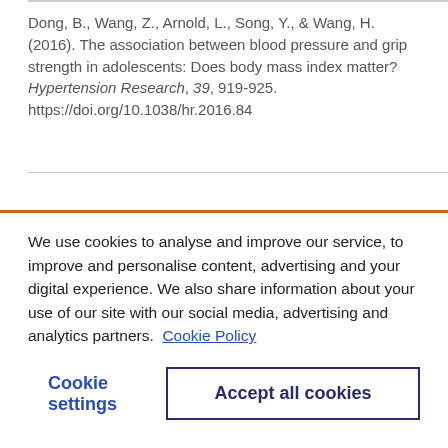Dong, B., Wang, Z., Arnold, L., Song, Y., & Wang, H. (2016). The association between blood pressure and grip strength in adolescents: Does body mass index matter? Hypertension Research, 39, 919-925. https://doi.org/10.1038/hr.2016.84
We use cookies to analyse and improve our service, to improve and personalise content, advertising and your digital experience. We also share information about your use of our site with our social media, advertising and analytics partners.  Cookie Policy
Cookie settings
Accept all cookies